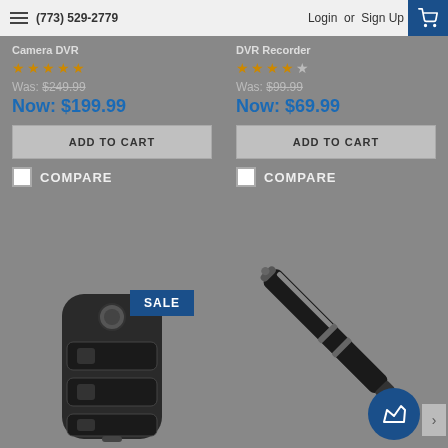(773) 529-2779  Login or Sign Up
Camera DVR
★★★★★ Was: $249.99 Now: $199.99
ADD TO CART
COMPARE
DVR Recorder
★★★★☆ Was: $99.99 Now: $69.99
ADD TO CART
COMPARE
[Figure (photo): Car key fob / remote with SALE badge overlay]
[Figure (photo): Black pen with stylus tip, hidden camera pen]